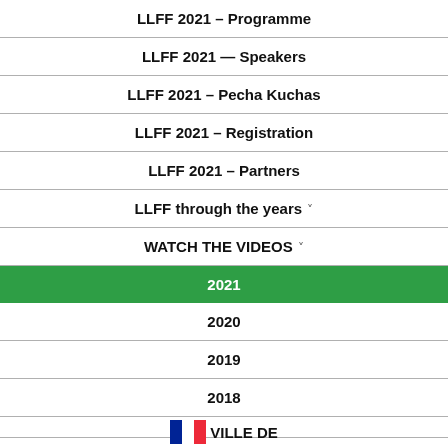LLFF 2021 – Programme
LLFF 2021 — Speakers
LLFF 2021 – Pecha Kuchas
LLFF 2021 – Registration
LLFF 2021 – Partners
LLFF through the years ˅
WATCH THE VIDEOS ˅
2021
2020
2019
2018
[Figure (logo): French flag logo with text VILLE DE]